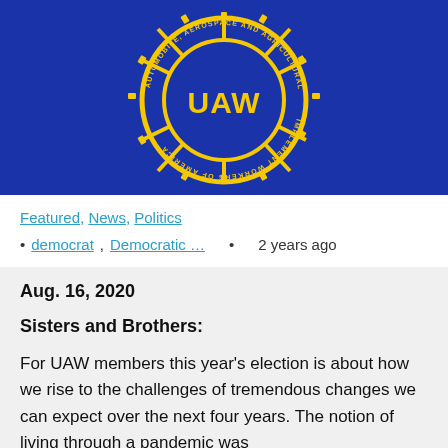[Figure (logo): UAW (United Auto Workers) union logo — yellow gear/wheel emblem with 'UAW' text on a dark blue background. Circle reads 'AUTOMOBILE, AEROSPACE AND AGRICULTURAL IMPLEMENT WORKERS OF AMERICA'.]
Featured, News, Politics
democrat, Democratic …
2 years ago
Aug. 16, 2020
Sisters and Brothers:
For UAW members this year's election is about how we rise to the challenges of tremendous changes we can expect over the next four years. The notion of living through a pandemic was